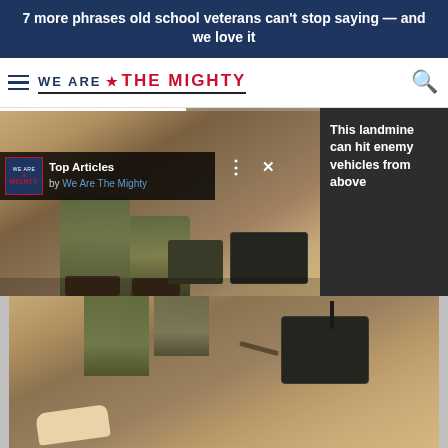7 more phrases old school veterans can't stop saying — and we love it
[Figure (logo): We Are The Mighty website logo with hamburger menu and search icon]
[Figure (screenshot): Website screenshot showing a video player with a soldier examining military equipment (landmine), with a 'Top Articles by We Are The Mighty' overlay, video controls (pause, mute), an arrow button, and a right panel reading 'This landmine can hit enemy vehicles from above'. Below is a continuation photo of the same scene.]
This landmine can hit enemy vehicles from above
Top Articles
by We Are The Mighty